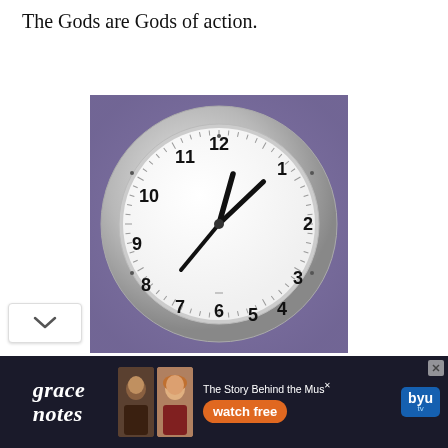The Gods are Gods of action.
[Figure (photo): A round wall clock with a silver/gray frame mounted on a purple wall. The clock face is white with black numerals 1-12 and black clock hands showing approximately 12:49.]
[Figure (screenshot): Advertisement banner for 'grace notes' on BYU TV showing 'The Story Behind the Music' with a 'watch free' button and photos of musicians.]